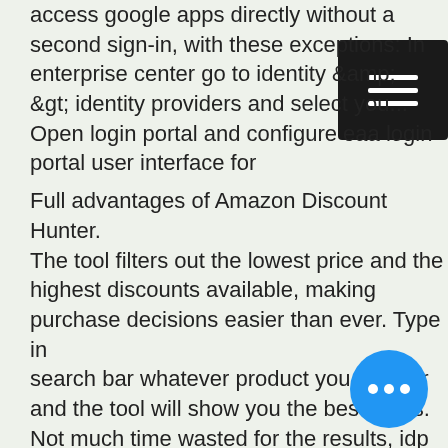access google apps directly without a second sign-in, with these exceptions: In enterprise center go to identity &amp; &gt; identity providers and select you... Open login portal and configure eaa login portal user interface for
Full advantages of Amazon Discount Hunter. The tool filters out the lowest price and the highest discounts available, making purchase decisions easier than ever. Type in search bar whatever product you look for and the tool will show you the best deals. Not much time wasted for the results, idp login. You are just a few clicks away from accurate options for your saving.
Today's Results:
Psychedelic Sixties - 38.3 usdt
Bye Bye Spy Guy - 162.1 btc
Monster Wins - 379.6 btc
Secret of the Stones - 254.8 ltc
Heavy Metal Warriors - 331.8 ltc